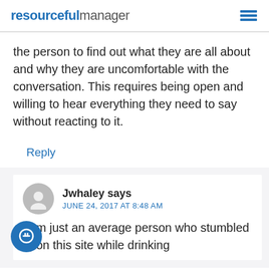resourcefulmanager
the person to find out what they are all about and why they are uncomfortable with the conversation. This requires being open and willing to hear everything they need to say without reacting to it.
Reply
Jwhaley says
JUNE 24, 2017 AT 8:48 AM
I am just an average person who stumbled upon this site while drinking